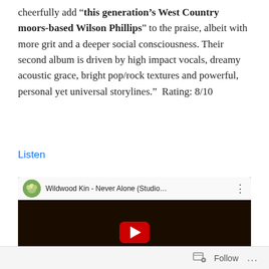cheerfully add “this generation’s West Country moors-based Wilson Phillips” to the praise, albeit with more grit and a deeper social consciousness. Their second album is driven by high impact vocals, dreamy acoustic grace, bright pop/rock textures and powerful, personal yet universal storylines.”  Rating: 8/10
Listen
[Figure (screenshot): Embedded YouTube video thumbnail showing 'Wildwood Kin - Never Alone (Studio...' with a dark indoor scene and a red play button overlay. The video header shows a circular avatar of the band and the video title with a three-dot menu icon.]